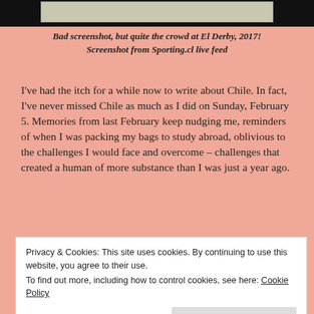[Figure (screenshot): Top portion of a screenshot showing a crowd at El Derby 2017, partially visible at the top of the page with black background framing.]
Bad screenshot, but quite the crowd at El Derby, 2017!
Screenshot from Sporting.cl live feed
I've had the itch for a while now to write about Chile. In fact, I've never missed Chile as much as I did on Sunday, February 5. Memories from last February keep nudging me, reminders of when I was packing my bags to study abroad, oblivious to the challenges I would face and overcome – challenges that created a human of more substance than I was just a year ago.
Privacy & Cookies: This site uses cookies. By continuing to use this website, you agree to their use.
To find out more, including how to control cookies, see here: Cookie Policy
Close and accept